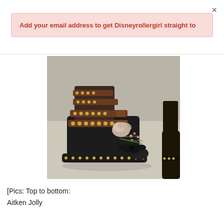×
Add your email address to get Disneyrollergirl straight to
[Figure (photo): Close-up of a black leather boot with gold stud trim along the sole, brown leather buckled straps with gold studs around the ankle, and floral decorations (a pale rose and small pink flowers) tucked at the front, on a light surface. Partial view of another dark boot in the background right.]
[Pics: Top to bottom:
Aitken Jolly